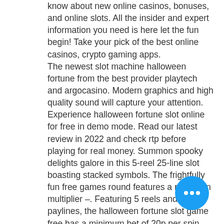know about new online casinos, bonuses, and online slots. All the insider and expert information you need is here let the fun begin! Take your pick of the best online casinos, crypto gaming apps. The newest slot machine halloween fortune from the best provider playtech and argocasino. Modern graphics and high quality sound will capture your attention. Experience halloween fortune slot online for free in demo mode. Read our latest review in 2022 and check rtp before playing for real money. Summon spooky delights galore in this 5-reel 25-line slot boasting stacked symbols. The frightfully fun free games round features a rising win multiplier –. Featuring 5 reels and 20 paylines, the halloween fortune slot game free has a minimum bet of 20p per spin with the maximum bet reaching a per spin for high. With great graphics a halloween theme, in halloween fortune